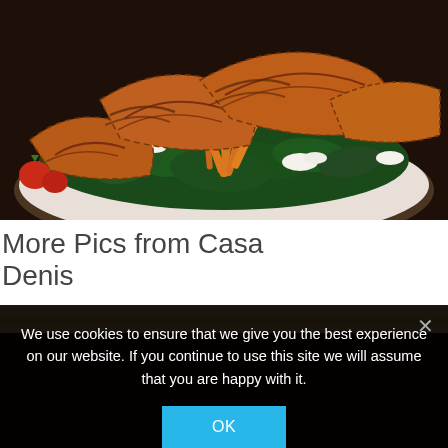[Figure (photo): Close-up photo of a salad bowl with grilled spiced chicken strips on a bed of fresh spinach leaves, shredded carrots, crumbled white cheese (feta), and strawberries]
More Pics from Casa Denis
[Figure (photo): Partial view of a wooden table or surface, cropped at top]
We use cookies to ensure that we give you the best experience on our website. If you continue to use this site we will assume that you are happy with it.
OK